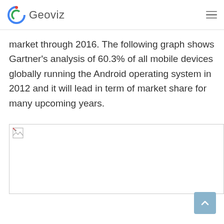Geoviz
market through 2016. The following graph shows Gartner’s analysis of 60.3% of all mobile devices globally running the Android operating system in 2012 and it will lead in term of market share for many upcoming years.
[Figure (other): Broken/missing image placeholder showing a graph related to Gartner's analysis of mobile OS market share]